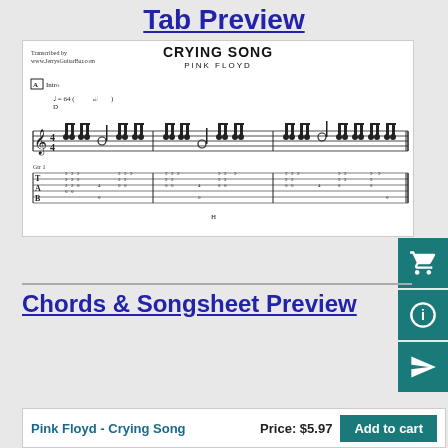Tab Preview
[Figure (illustration): Guitar tab sheet music preview for 'Crying Song' by Pink Floyd, transcribed by www.JerrysGuitarBar.com. Shows intro section with standard notation and guitar tablature (TAB), tempo marking J=64, key of D, with notes and tab numbers on T/A/B lines.]
Chords & Songsheet Preview
Pink Floyd - Crying Song   Price: $5.97   Add to cart